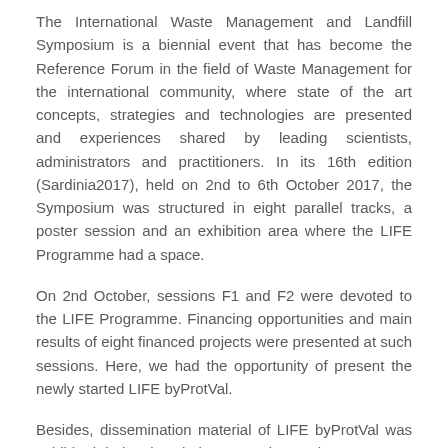The International Waste Management and Landfill Symposium is a biennial event that has become the Reference Forum in the field of Waste Management for the international community, where state of the art concepts, strategies and technologies are presented and experiences shared by leading scientists, administrators and practitioners. In its 16th edition (Sardinia2017), held on 2nd to 6th October 2017, the Symposium was structured in eight parallel tracks, a poster session and an exhibition area where the LIFE Programme had a space.
On 2nd October, sessions F1 and F2 were devoted to the LIFE Programme. Financing opportunities and main results of eight financed projects were presented at such sessions. Here, we had the opportunity of present the newly started LIFE byProtVal.
Besides, dissemination material of LIFE byProtVal was exhibited during the whole Symposium at the LIFE